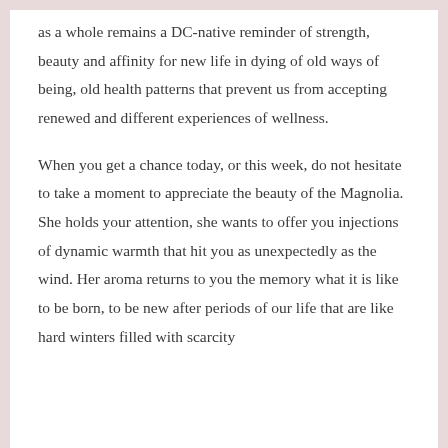as a whole remains a DC-native reminder of strength, beauty and affinity for new life in dying of old ways of being, old health patterns that prevent us from accepting renewed and different experiences of wellness.
When you get a chance today, or this week, do not hesitate to take a moment to appreciate the beauty of the Magnolia. She holds your attention, she wants to offer you injections of dynamic warmth that hit you as unexpectedly as the wind. Her aroma returns to you the memory what it is like to be born, to be new after periods of our life that are like hard winters filled with scarcity